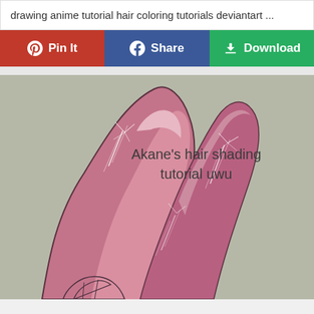drawing anime tutorial hair coloring tutorials deviantart ...
Pin It
Share
Download
[Figure (illustration): Anime hair shading tutorial illustration titled 'Akane's hair shading tutorial uwu', showing a stylized pink anime hair strand with shading and highlight lines on a grey-green background.]